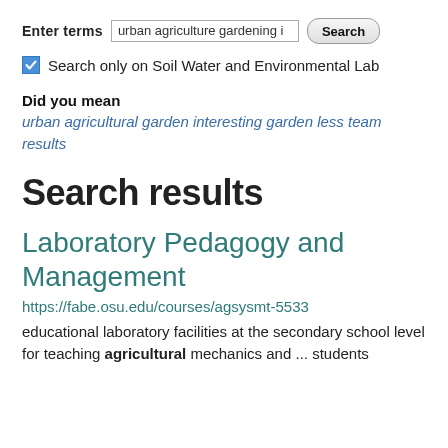Enter terms  [urban agriculture gardening i...]  [Search]
☑ Search only on Soil Water and Environmental Lab
Did you mean
urban agricultural garden interesting garden less team results
Search results
Laboratory Pedagogy and Management
https://fabe.osu.edu/courses/agsysmt-5533
educational laboratory facilities at the secondary school level for teaching agricultural mechanics and ... students